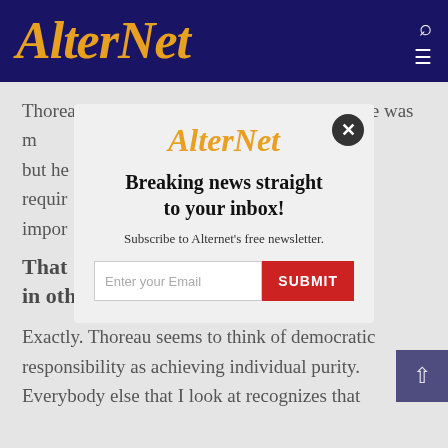AlterNet
Thoreau was actually sympathetic to this — he was m... or — but he... es requir... impor...
[Figure (screenshot): AlterNet newsletter subscription modal with logo, headline 'Breaking news straight to your inbox!', subtext 'Subscribe to Alternet's free newsletter.', email input field, and red SUBMIT button with close X button]
That [figure]... [example/perspective] in other figures, right?
Exactly. Thoreau seems to think of democratic responsibility as achieving individual purity. Everybody else that I look at recognizes that